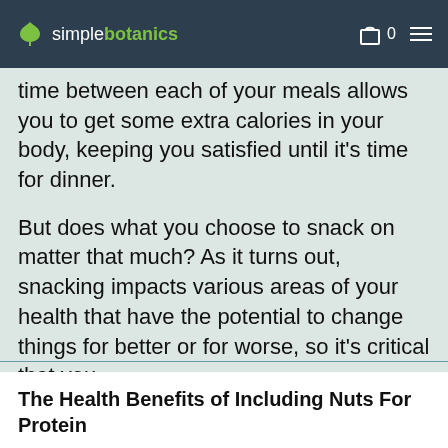simplebotanics
time between each of your meals allows you to get some extra calories in your body, keeping you satisfied until it's time for dinner.
But does what you choose to snack on matter that much? As it turns out, snacking impacts various areas of your health that have the potential to change things for better or for worse, so it's critical that you
The Health Benefits of Including Nuts For Protein